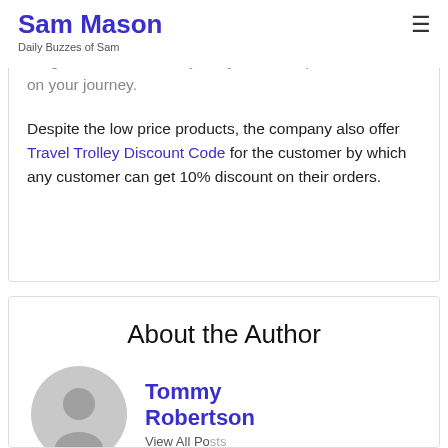Sam Mason
Daily Buzzes of Sam
quality material which are elegant in design and light weighted. You can easily carry from one place to another on your journey.

Despite the low price products, the company also offer Travel Trolley Discount Code for the customer by which any customer can get 10% discount on their orders.
About the Author
Tommy Robertson
View All Posts